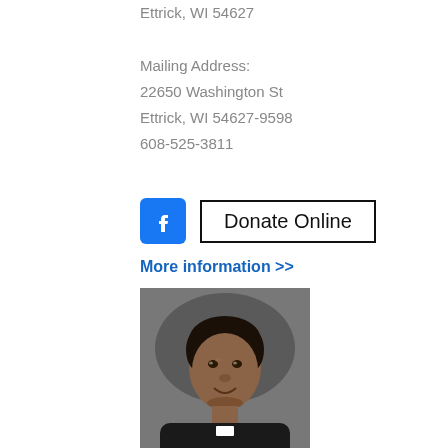Ettrick, WI 54627

Mailing Address:
22650 Washington St
Ettrick, WI 54627-9598
608-525-3811
[Figure (logo): Facebook logo icon (blue square with white F)]
Donate Online
More information >>
[Figure (photo): Portrait photo of Rev. Jeyaseelan Yobu (Fr. Joy), a priest wearing black clerical shirt with white collar, smiling, with gray background.]
Rev. Jeyaseelan Yobu
(Fr. Joy)